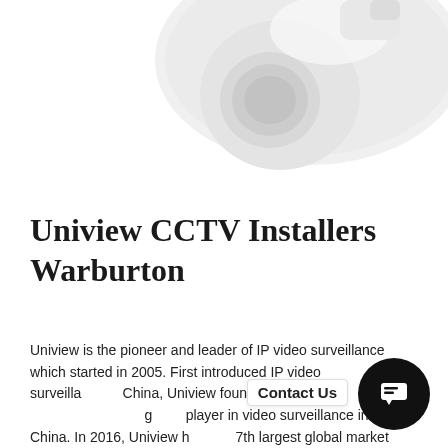[Figure (photo): Partial view of a white Uniview security/CCTV camera against a white background, showing the rounded body and lens housing from above.]
Uniview CCTV Installers Warburton
Uniview is the pioneer and leader of IP video surveillance which started in 2005. First introduced IP video surveillance in China, Uniview founded in 2011 and became a leading player in video surveillance in China. In 2016, Uniview held 7th largest global market share.